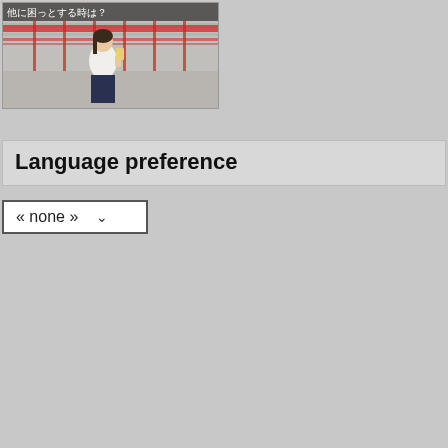[Figure (photo): A young woman in a white top and dark skirt sitting outdoors near a red railing, holding a cup. Japanese text overlay at the top reads '他に困っとする時は?']
Language preference
« none »